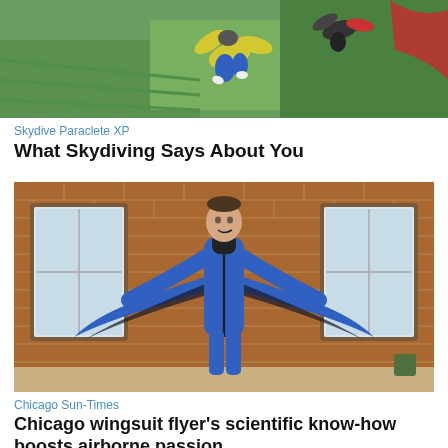[Figure (photo): Aerial skydiving photo showing two skydivers in freefall above green fields. One wears yellow and blue gear, another is in dark gear. Red fabric visible at right edge.]
Skydive Paraclete XP
What Skydiving Says About You
[Figure (photo): Man standing indoors in a brick-walled warehouse space wearing a blue and black wingsuit with arms spread wide, displaying the wing membranes between arms and body.]
Chicago Sun-Times
Chicago wingsuit flyer's scientific know-how boosts airborne passion